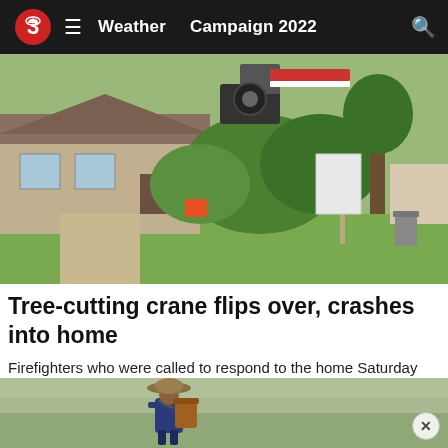Weather  Campaign 2022
[Figure (photo): A tree-cutting crane flipped over into a residential home, visible behind bushes and trees. A suburban house with brick facade is seen in the background with the overturned crane machinery visible above the roofline.]
Tree-cutting crane flips over, crashes into home
Firefighters who were called to respond to the home Saturday around 9 a.m. saw the crane had crashed into the home.
WCAX TV
[Figure (photo): A person wearing a wide-brimmed hat and carrying a large brown backpack sprayer, standing in an open grassy field.]